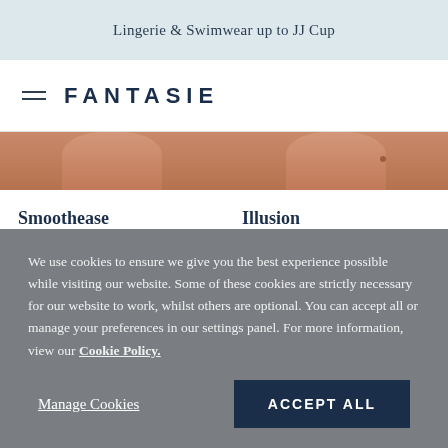Lingerie & Swimwear up to JJ Cup
FANTASIE
[Figure (photo): Cropped photo of a model's torso showing skin, split into two product images side by side]
Smoothease
Invisible Stretch Thong
Natural Beige
Illusion
Side Support Bra
Berry
We use cookies to ensure we give you the best experience possible while visiting our website. Some of these cookies are strictly necessary for our website to work, whilst others are optional. You can accept all or manage your preferences in our settings panel. For more information, view our Cookie Policy.
Manage Cookies
ACCEPT ALL